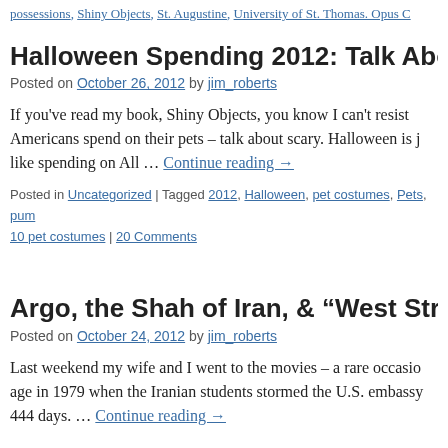possessions, Shiny Objects, St. Augustine, University of St. Thomas. Opus C
Halloween Spending 2012: Talk About Sc
Posted on October 26, 2012 by jim_roberts
If you've read my book, Shiny Objects, you know I can't resist Americans spend on their pets – talk about scary. Halloween is just like spending on All … Continue reading →
Posted in Uncategorized | Tagged 2012, Halloween, pet costumes, Pets, pum 10 pet costumes | 20 Comments
Argo, the Shah of Iran, & "West Strucked
Posted on October 24, 2012 by jim_roberts
Last weekend my wife and I went to the movies – a rare occasio age in 1979 when the Iranian students stormed the U.S. embassy 444 days. … Continue reading →